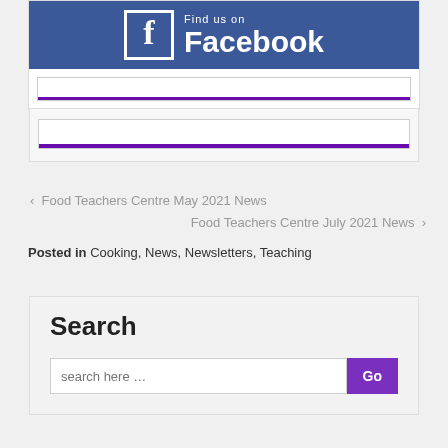[Figure (logo): Facebook 'Find us on Facebook' banner with blue background, white Facebook logo and text]
[Figure (screenshot): Input field with purple bottom bar]
[Figure (screenshot): Second input field with purple bottom bar inside gray card]
‹ Food Teachers Centre May 2021 News
Food Teachers Centre July 2021 News ›
Posted in Cooking, News, Newsletters, Teaching
Search
search here …